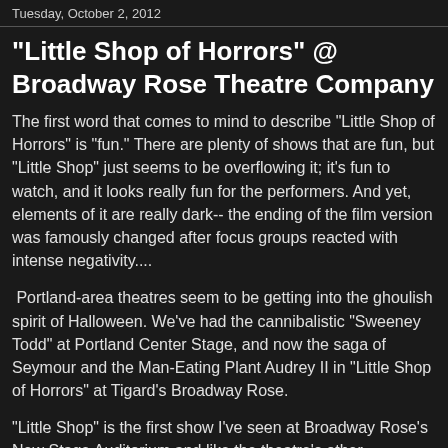Tuesday, October 2, 2012
"Little Shop of Horrors" @ Broadway Rose Theatre Company
The first word that comes to mind to describe "Little Shop of Horrors" is "fun." There are plenty of shows that are fun, but "Little Shop" just seems to be overflowing it; it's fun to watch, and it looks really fun for the performers. And yet, elements of it are really dark-- the ending of the film version was famously changed after focus groups reacted with intense negativity....
Portland-area theatres seem to be getting into the ghoulish spirit of Halloween. We've had the cannibalistic "Sweeney Todd" at Portland Center Stage, and now the saga of Seymour and the Man-Eating Plant Audrey II in "Little Shop of Horrors" at Tigard's Broadway Rose.
"Little Shop" is the first show I've seen at Broadway Rose's New Stage Auditorium and like the theatre's other auditorium on the campus of Tigard High School, the New Stage has excellent acoustics...